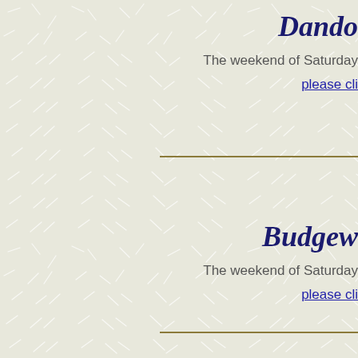Dando
The weekend of Saturday
please cli
Budgew
The weekend of Saturday
please cli
N... C...